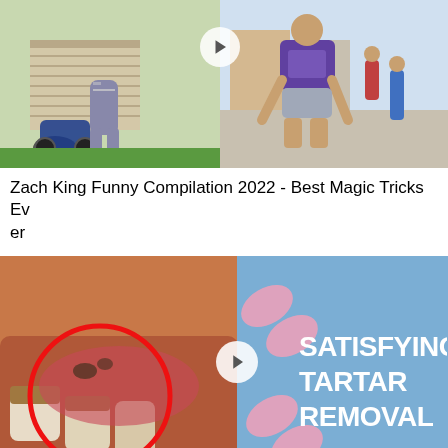[Figure (screenshot): Video thumbnail for Zach King Funny Compilation 2022 - split image showing a person jumping on the left side with a garage and motorcycle, and a person bending over on the right side in a driveway with a play button in the center]
Zach King Funny Compilation 2022 - Best Magic Tricks Ever
[Figure (screenshot): Video thumbnail split in two: left side shows a close-up of a dog's mouth with a red circle highlighting tartar/teeth, right side is a blue background with pink decorative elements, a play button, and white bold text reading SATISFYING TARTAR REMOVAL]